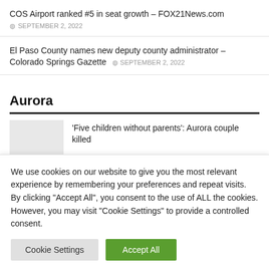COS Airport ranked #5 in seat growth – FOX21News.com
SEPTEMBER 2, 2022
El Paso County names new deputy county administrator – Colorado Springs Gazette  SEPTEMBER 2, 2022
Aurora
'Five children without parents': Aurora couple killed
We use cookies on our website to give you the most relevant experience by remembering your preferences and repeat visits. By clicking "Accept All", you consent to the use of ALL the cookies. However, you may visit "Cookie Settings" to provide a controlled consent.